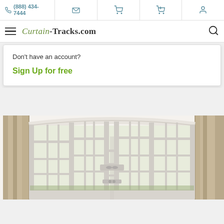(888) 434-7444
Curtain-Tracks.com
Don't have an account?
Sign Up for free
[Figure (photo): Bay window with curtains on the sides, showing a curved bay window with white frames and grid panes, with beige/tan curtains on both sides of the window]